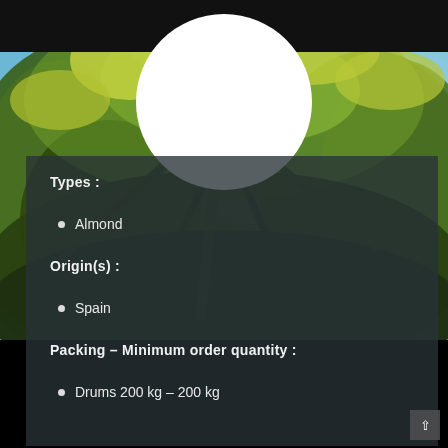[Figure (photo): Background photo of green tree canopy with yellow-green foliage against blue sky, viewed from below. A white circle (logo placeholder) overlays the upper center area. Top black navigation bar with hamburger menu icon.]
Types :
Almond
Origin(s) :
Spain
Packing – Minimum order quantity :
Drums 200 kg – 200 kg